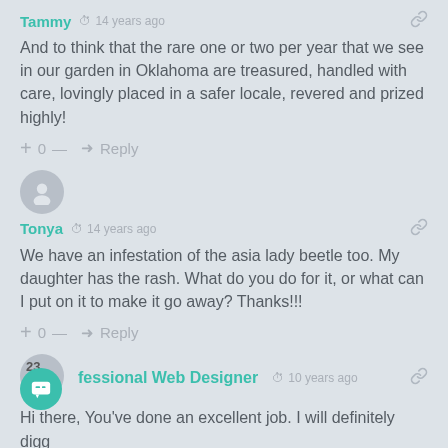Tammy  14 years ago
And to think that the rare one or two per year that we see in our garden in Oklahoma are treasured, handled with care, lovingly placed in a safer locale, revered and prized highly!
+ 0 — → Reply
Tonya  14 years ago
We have an infestation of the asia lady beetle too. My daughter has the rash. What do you do for it, or what can I put on it to make it go away? Thanks!!!
+ 0 — → Reply
Professional Web Designer  10 years ago
Hi there, You've done an excellent job. I will definitely digg